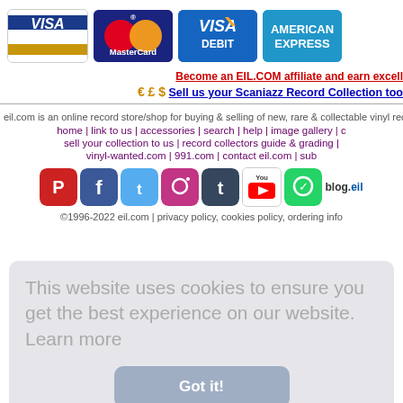[Figure (logo): Payment card logos: Visa, MasterCard, Visa Debit, American Express]
Become an EIL.COM affiliate and earn excell
€ £ $ Sell us your Scaniazz Record Collection too
eil.com is an online record store/shop for buying & selling of new, rare & collectable vinyl rec
home | link to us | accessories | search | help | image gallery | c
sell your collection to us | record collectors guide & grading |
vinyl-wanted.com | 991.com | contact eil.com | sub
[Figure (logo): Social media icons: Pinterest, Facebook, Twitter, Instagram, Tumblr, YouTube, WhatsApp, blog.eil]
©1996-2022 eil.com | privacy policy, cookies policy, ordering info
This website uses cookies to ensure you get the best experience on our website.  Learn more
Got it!